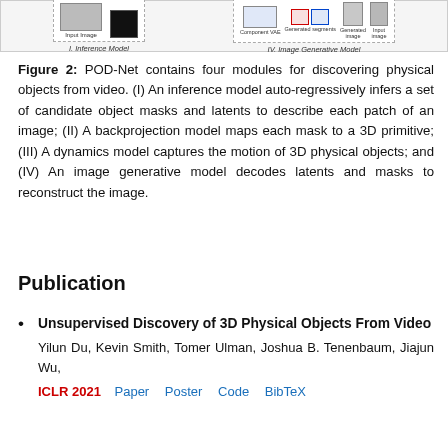[Figure (schematic): Top strip showing figure 2 diagram components: left side shows 'I. Inference Model' with input image boxes, right side shows 'IV. Image Generative Model' with Component VAE, Generated segments, Generated image, and Input image boxes.]
Figure 2: POD-Net contains four modules for discovering physical objects from video. (I) An inference model auto-regressively infers a set of candidate object masks and latents to describe each patch of an image; (II) A backprojection model maps each mask to a 3D primitive; (III) A dynamics model captures the motion of 3D physical objects; and (IV) An image generative model decodes latents and masks to reconstruct the image.
Publication
Unsupervised Discovery of 3D Physical Objects From Video
Yilun Du, Kevin Smith, Tomer Ulman, Joshua B. Tenenbaum, Jiajun Wu,
ICLR 2021  Paper  Poster  Code  BibTeX